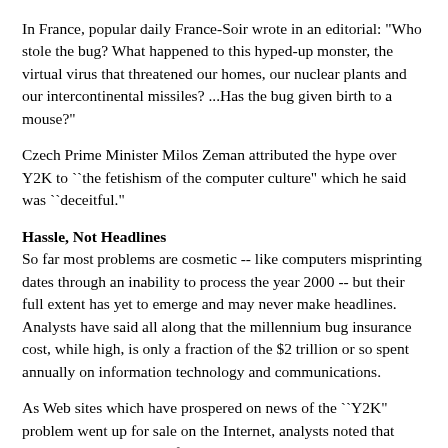In France, popular daily France-Soir wrote in an editorial: "Who stole the bug? What happened to this hyped-up monster, the virtual virus that threatened our homes, our nuclear plants and our intercontinental missiles? ...Has the bug given birth to a mouse?"
Czech Prime Minister Milos Zeman attributed the hype over Y2K to ``the fetishism of the computer culture" which he said was ``deceitful."
Hassle, Not Headlines
So far most problems are cosmetic -- like computers misprinting dates through an inability to process the year 2000 -- but their full extent has yet to emerge and may never make headlines. Analysts have said all along that the millennium bug insurance cost, while high, is only a fraction of the $2 trillion or so spent annually on information technology and communications.
As Web sites which have prospered on news of the ``Y2K" problem went up for sale on the Internet, analysts noted that some problems are hard for the media to convey.
Gartner's Kyte said there was evidence of a software foul-up affecting some multinational corporations whose computers are synchronized using time signals.